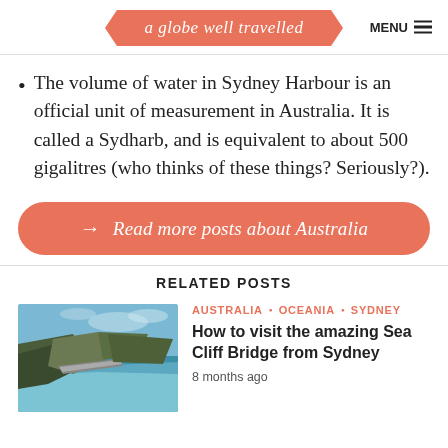a globe well travelled | MENU
The volume of water in Sydney Harbour is an official unit of measurement in Australia. It is called a Sydharb, and is equivalent to about 500 gigalitres (who thinks of these things? Seriously?).
→ Read more posts about Australia
RELATED POSTS
[Figure (photo): Aerial view of Sea Cliff Bridge along rocky coastal cliffs with turquoise ocean water]
AUSTRALIA • OCEANIA • SYDNEY
How to visit the amazing Sea Cliff Bridge from Sydney
8 months ago